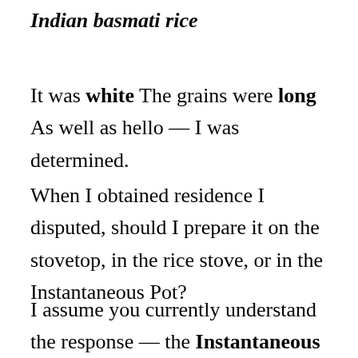Indian basmati rice
It was white The grains were long As well as hello — I was determined.
When I obtained residence I disputed, should I prepare it on the stovetop, in the rice stove, or in the Instantaneous Pot?
I assume you currently understand the response — the Instantaneous Pot won.